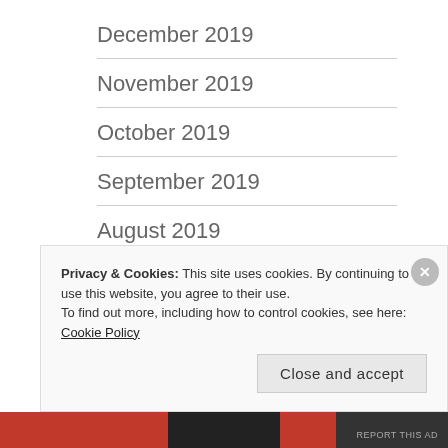December 2019
November 2019
October 2019
September 2019
August 2019
July 2019
June 2019
May 2019
April 2019
Privacy & Cookies: This site uses cookies. By continuing to use this website, you agree to their use. To find out more, including how to control cookies, see here: Cookie Policy
REPORT THIS AD